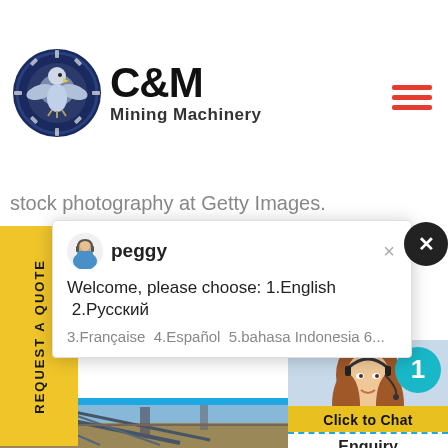[Figure (logo): C&M Mining Machinery logo with eagle/gear icon in dark navy circle, company name in bold black text]
stock photography at Getty Images.
[Figure (screenshot): Chat popup widget showing agent 'peggy' with avatar icon, message: 'Welcome, please choose: 1.English  2.Русский 3.Française 4.Español 5.bahasa Indonesia 6...' with close X button]
REQUEST A QUOTE
[Figure (photo): Mining conveyor belt machinery and scaffolding structure against blue sky]
[Figure (photo): Customer service representative with headset, smiling, with teal badge showing number 1]
Click to Chat
Enquiry